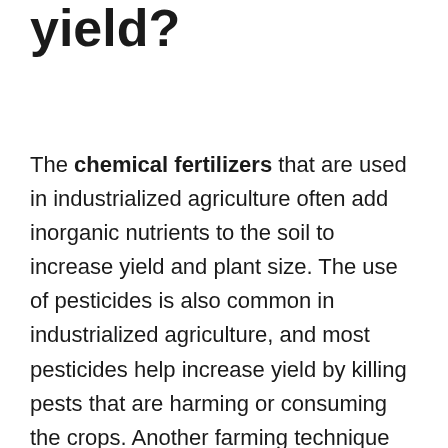yield?
The chemical fertilizers that are used in industrialized agriculture often add inorganic nutrients to the soil to increase yield and plant size. The use of pesticides is also common in industrialized agriculture, and most pesticides help increase yield by killing pests that are harming or consuming the crops. Another farming technique that is used in industrialized agriculture is the method of growing monocultures, which is when a single crop is planted on a large scale. Although planting monocultures can increase overall yield, this method of farming is also more susceptible to disease and causes a reduction in the dietary variation of